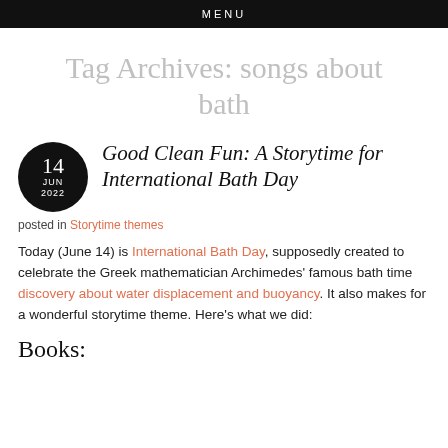MENU
Tag Archives: songs about bath
Good Clean Fun: A Storytime for International Bath Day
posted in Storytime themes
Today (June 14) is International Bath Day, supposedly created to celebrate the Greek mathematician Archimedes' famous bath time discovery about water displacement and buoyancy. It also makes for a wonderful storytime theme. Here's what we did:
Books: